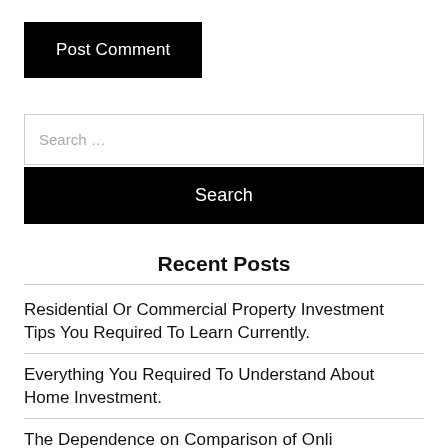Post Comment
Search …
Search
Recent Posts
Residential Or Commercial Property Investment Tips You Required To Learn Currently.
Everything You Required To Understand About Home Investment.
The Dependence on Comparison of Onli…